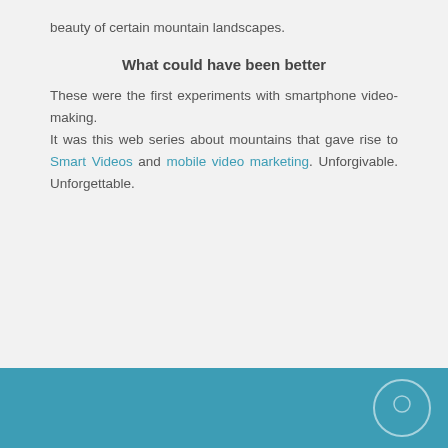beauty of certain mountain landscapes.
What could have been better
These were the first experiments with smartphone video-making.
It was this web series about mountains that gave rise to Smart Videos and mobile video marketing.
Unforgivable. Unforgettable.